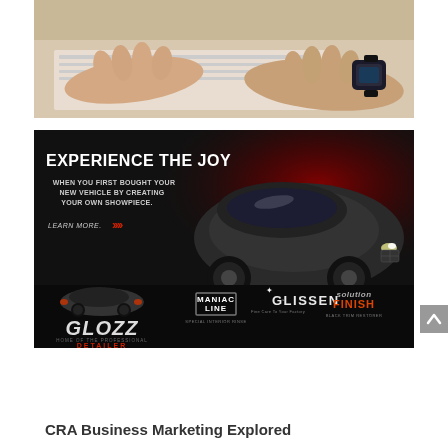[Figure (photo): Photograph of hands resting on a desk/papers, person wearing a dark watch/wristband, viewed from above]
[Figure (illustration): Glozz automotive detailing advertisement banner. Dark background with red glow, luxury SUV (Porsche Macan style), text: EXPERIENCE THE JOY / WHEN YOU FIRST BOUGHT YOUR NEW VEHICLE BY CREATING YOUR OWN SHOWPIECE. / LEARN MORE with red arrows. Logos: Glozz Home of the Professional Detailer, Maniac Line, Glissen, Solution Finish Black Trim Restorer]
CRA Business Marketing Explored